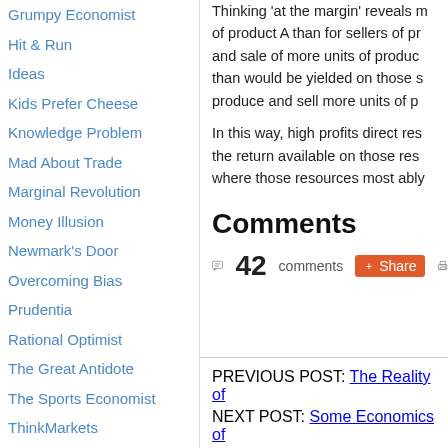Grumpy Economist
Hit & Run
Ideas
Kids Prefer Cheese
Knowledge Problem
Mad About Trade
Marginal Revolution
Money Illusion
Newmark's Door
Overcoming Bias
Prudentia
Rational Optimist
The Great Antidote
The Sports Economist
ThinkMarkets
Tim Worstall
Thinking 'at the margin' reveals more of product A than for sellers of product... and sale of more units of product... than would be yielded on those s... produce and sell more units of p...
In this way, high profits direct res... the return available on those res... where those resources most ably...
Comments
42 comments  Share  [print]
PREVIOUS POST: The Reality of...
NEXT POST: Some Economics of...